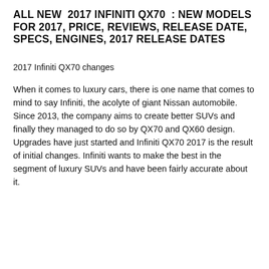ALL NEW 2017 INFINITI QX70 : NEW MODELS FOR 2017, PRICE, REVIEWS, RELEASE DATE, SPECS, ENGINES, 2017 RELEASE DATES
2017 Infiniti QX70 changes
When it comes to luxury cars, there is one name that comes to mind to say Infiniti, the acolyte of giant Nissan automobile. Since 2013, the company aims to create better SUVs and finally they managed to do so by QX70 and QX60 design. Upgrades have just started and Infiniti QX70 2017 is the result of initial changes. Infiniti wants to make the best in the segment of luxury SUVs and have been fairly accurate about it.